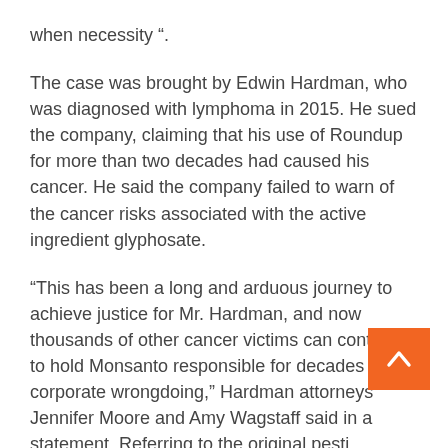when necessity ".
The case was brought by Edwin Hardman, who was diagnosed with lymphoma in 2015. He sued the company, claiming that his use of Roundup for more than two decades had caused his cancer. He said the company failed to warn of the cancer risks associated with the active ingredient glyphosate.
“This has been a long and arduous journey to achieve justice for Mr. Hardman, and now thousands of other cancer victims can continue to hold Monsanto responsible for decades of corporate wrongdoing,” Hardman attorneys Jennifer Moore and Amy Wagstaff said in a statement. Referring to the original pesti[cide] product, which was acquired by Bayer in 2018.
The Environmental Protection Agency has repeatedly